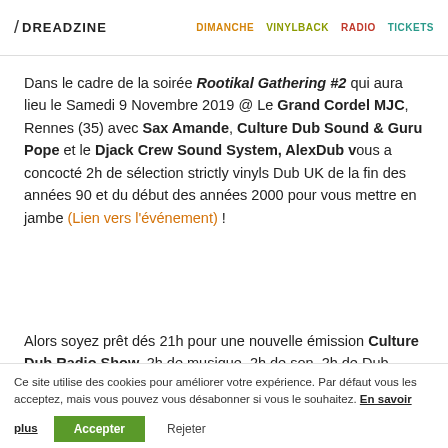/ DREADZINE | DIMANCHE VINYLBACK RADIO TICKETS
Dans le cadre de la soirée Rootikal Gathering #2 qui aura lieu le Samedi 9 Novembre 2019 @ Le Grand Cordel MJC, Rennes (35) avec Sax Amande, Culture Dub Sound & Guru Pope et le Djack Crew Sound System, AlexDub vous a concocté 2h de sélection strictly vinyls Dub UK de la fin des années 90 et du début des années 2000 pour vous mettre en jambe (Lien vers l'événement) !
Alors soyez prêt dés 21h pour une nouvelle émission Culture Dub Radio Show, 2h de musique, 2h de son, 2h de Dub, c'est Cuuuuuuullltuuure Dub !!!
Ce site utilise des cookies pour améliorer votre expérience. Par défaut vous les acceptez, mais vous pouvez vous désabonner si vous le souhaitez. En savoir plus | Accepter | Rejeter